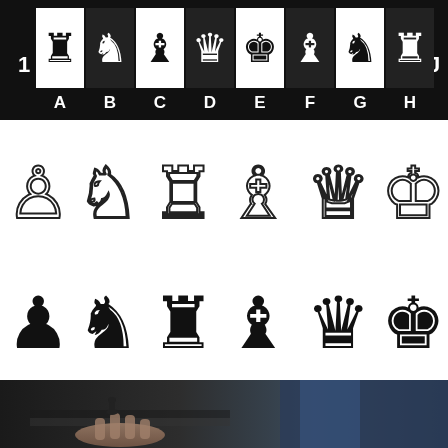[Figure (illustration): Chess board row showing white chess pieces (rook, knight, bishop, queen, king, bishop, knight, rook) on alternating black and white squares, labeled with row number 1 on left and J on right, and columns A through H below on black background.]
[Figure (illustration): Six white/outline chess pieces in a row: pawn, knight, rook, bishop, queen, king — displayed on white background.]
[Figure (illustration): Six black/solid chess pieces in a row: pawn, knight, rook, bishop, queen, king — displayed on white background.]
[Figure (photo): Dark photograph of a person's hand holding or moving a chess piece on a chess board, blurred background with blue tones.]